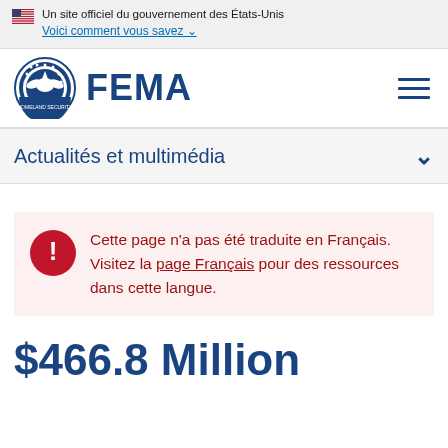Un site officiel du gouvernement des États-Unis
Voici comment vous savez ↓
[Figure (logo): FEMA logo with DHS seal and FEMA wordmark, plus hamburger menu icon]
Actualités et multimédia
Cette page n'a pas été traduite en Français. Visitez la page Français pour des ressources dans cette langue.
$466.8 Million